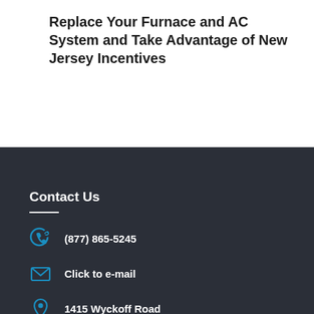Replace Your Furnace and AC System and Take Advantage of New Jersey Incentives
Contact Us
(877) 865-5245
Click to e-mail
1415 Wyckoff Road